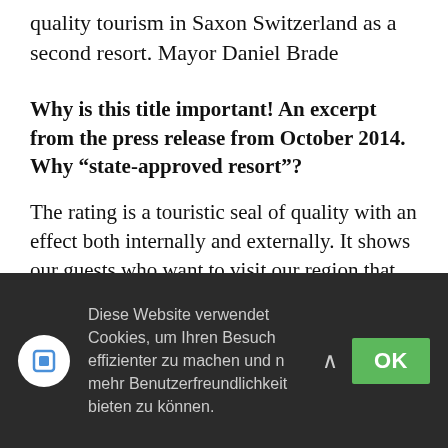quality tourism in Saxon Switzerland as a second resort. Mayor Daniel Brade
Why is this title important! An excerpt from the press release from October 2014. Why “state-approved resort”?
The rating is a touristic seal of quality with an effect both internally and externally. It shows our guests who want to visit our region that tourist requirements are met. Regardless of the beauty of the landscape, premises are
Diese Website verwendet Cookies, um Ihren Besuch effizienter zu machen und n mehr Benutzerfreundlichkeit bieten zu können.